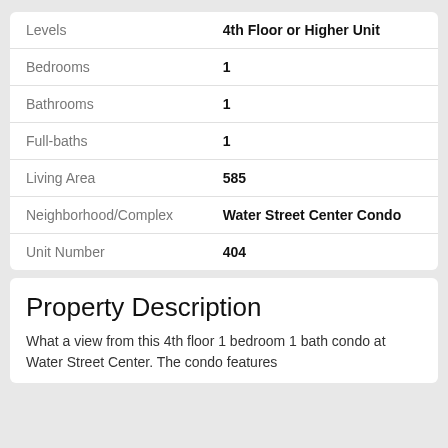| Field | Value |
| --- | --- |
| Levels | 4th Floor or Higher Unit |
| Bedrooms | 1 |
| Bathrooms | 1 |
| Full-baths | 1 |
| Living Area | 585 |
| Neighborhood/Complex | Water Street Center Condo |
| Unit Number | 404 |
Property Description
What a view from this 4th floor 1 bedroom 1 bath condo at Water Street Center. The condo features